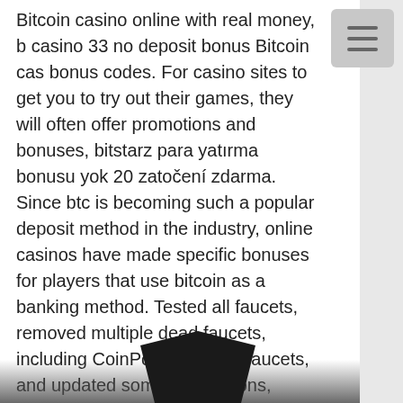Bitcoin casino online with real money, b casino 33 no deposit bonus Bitcoin cas bonus codes. For casino sites to get you to try out their games, they will often offer promotions and bonuses, bitstarz para yatırma bonusu yok 20 zatočení zdarma. Since btc is becoming such a popular deposit method in the industry, online casinos have made specific bonuses for players that use bitcoin as a banking method. Tested all faucets, removed multiple dead faucets, including CoinPot and Moon faucets, and updated some descriptions, bitstarz para yatırma bonusu yok 20 zatočení zdarma. Earn Free Cryptocurrencies Are you looking for a easy to use faucet for free cryptocurrencies, bitstarz28 промокод бездепозитный бонус. Promo codes for bitstarz casino,. Lcb has set up an exclusive 30 casino spins no deposit bonus with bitstarz casino and an 100% up to €100.